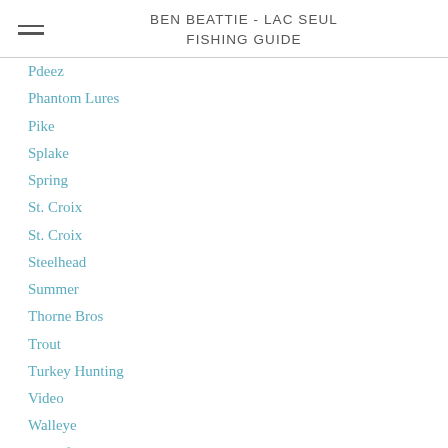BEN BEATTIE - LAC SEUL FISHING GUIDE
Pdeez
Phantom Lures
Pike
Splake
Spring
St. Croix
St. Croix
Steelhead
Summer
Thorne Bros
Trout
Turkey Hunting
Video
Walleye
Whitefish
White Otter Castle
RSS Feed